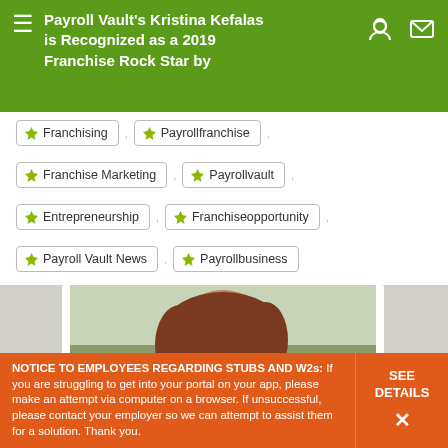Payroll Vault's Kristina Kefalas is Recognized as a 2019 Franchise Rock Star by
Franchising
Payrollfranchise
Franchise Marketing
Payrollvault
Entrepreneurship
Franchiseopportunity
Payroll Vault News
Payrollbusiness
[Figure (photo): Photo of a smiling woman with short reddish-brown hair and glasses, wearing a dark floral top, outdoors with trees in background]
NOTICE TO EMPLOYEES REGARDING STUBS AND W2s: If you are struggling to get into your portal on your app, please make an attempt via computer on a browser. If unsuccessful, please contact your employer so we can attempt to assist them for a solution. Thank you.
SEE DETAILS